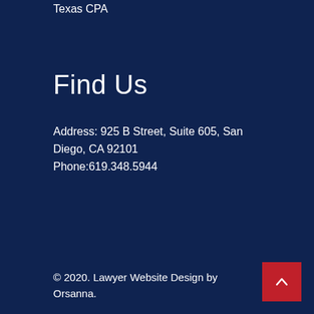Texas CPA
Find Us
Address: 925 B Street, Suite 605, San Diego, CA 92101
Phone:619.348.5944
© 2020. Lawyer Website Design by Orsanna.